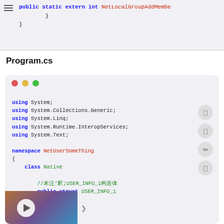[Figure (screenshot): Code snippet showing closing braces of a C# method with 'public static extern int NetLocalGroupAddMembe' visible at top, with hamburger menu icon on left]
Program.cs
[Figure (screenshot): Code editor window with traffic light buttons showing C# code: using directives for System, System.Collections.Generic, System.Linq, System.Runtime.InteropServices, System.Text; namespace NetUserSomeThing { class Native { //...USER_INFO_1... public struct USER_INFO_1 {]